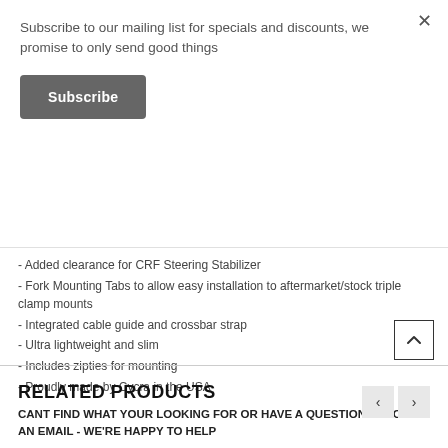Subscribe to our mailing list for specials and discounts, we promise to only send good things
Subscribe
- Added clearance for CRF Steering Stabilizer
- Fork Mounting Tabs to allow easy installation to aftermarket/stock triple clamp mounts
- Integrated cable guide and crossbar strap
- Ultra lightweight and slim
- Includes zipties for mounting
- Proudly made by Cycra in the USA
CANT FIND WHAT YOUR LOOKING FOR OR HAVE A QUESTION - DROP US AN EMAIL - WE'RE HAPPY TO HELP
RELATED PRODUCTS